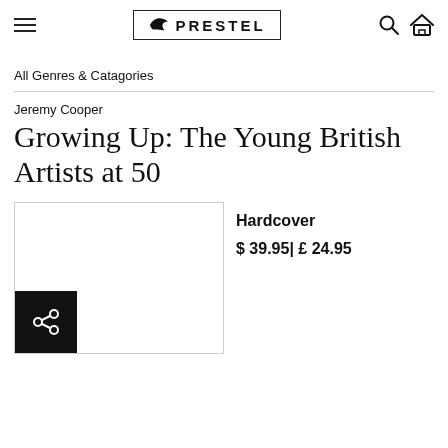[Figure (logo): Prestel publisher logo with bird icon and PRESTEL text in bordered box, plus hamburger menu, search and home icons]
All Genres & Catagories
Jeremy Cooper
Growing Up: The Young British Artists at 50
[Figure (other): Book cover placeholder image (white rectangle with border) with black share button in bottom left corner]
Hardcover
$ 39.95| £ 24.95